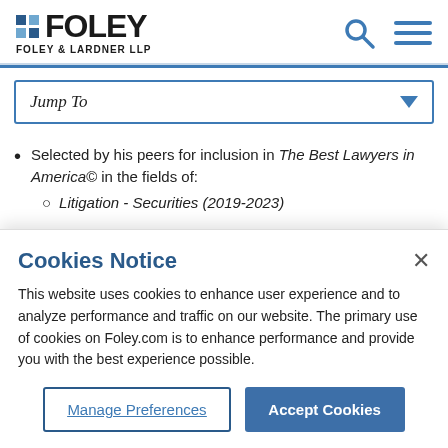FOLEY | FOLEY & LARDNER LLP
Jump To
Selected by his peers for inclusion in The Best Lawyers in America© in the fields of:
Litigation - Securities (2019-2023)
Cookies Notice
This website uses cookies to enhance user experience and to analyze performance and traffic on our website. The primary use of cookies on Foley.com is to enhance performance and provide you with the best experience possible.
Manage Preferences
Accept Cookies